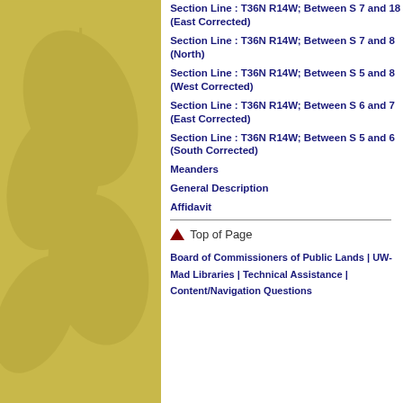Section Line : T36N R14W; Between S 7 and 18 (East Corrected)
Section Line : T36N R14W; Between S 7 and 8 (North)
Section Line : T36N R14W; Between S 5 and 8 (West Corrected)
Section Line : T36N R14W; Between S 6 and 7 (East Corrected)
Section Line : T36N R14W; Between S 5 and 6 (South Corrected)
Meanders
General Description
Affidavit
Top of Page
Board of Commissioners of Public Lands | UW-Mad Libraries | Technical Assistance | Content/Navigation Questions